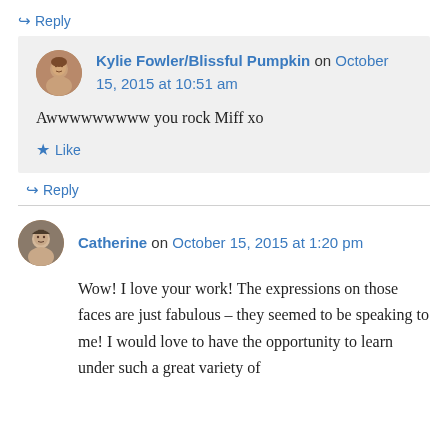↪ Reply
Kylie Fowler/Blissful Pumpkin on October 15, 2015 at 10:51 am
Awwwwwwwww you rock Miff xo
★ Like
↪ Reply
Catherine on October 15, 2015 at 1:20 pm
Wow! I love your work! The expressions on those faces are just fabulous – they seemed to be speaking to me! I would love to have the opportunity to learn under such a great variety of